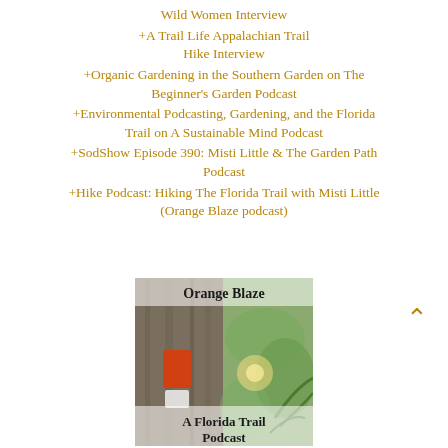Wild Women Interview
+A Trail Life Appalachian Trail Hike Interview
+Organic Gardening in the Southern Garden on The Beginner's Garden Podcast
+Environmental Podcasting, Gardening, and the Florida Trail on A Sustainable Mind Podcast
+SodShow Episode 390: Misti Little & The Garden Path Podcast
+Hike Podcast: Hiking The Florida Trail with Misti Little (Orange Blaze podcast)
[Figure (photo): Orange Blaze - A Florida Trail Podcast cover art showing an orange trail blaze on a tree trunk with green foliage in the background]